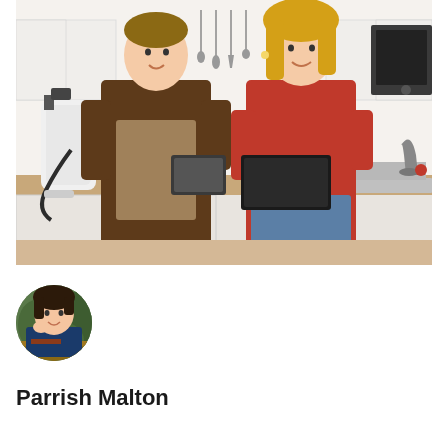[Figure (photo): A pest control technician in a brown uniform carrying a spray tank stands in a kitchen with a blonde woman in a red top, both looking at a tablet device. Kitchen background with white cabinets, hanging utensils, oven, and a silver sink.]
[Figure (photo): Small circular avatar portrait of a smiling woman with dark hair, wearing a navy blue top, seated at a desk with green plants in the background.]
Parrish Malton